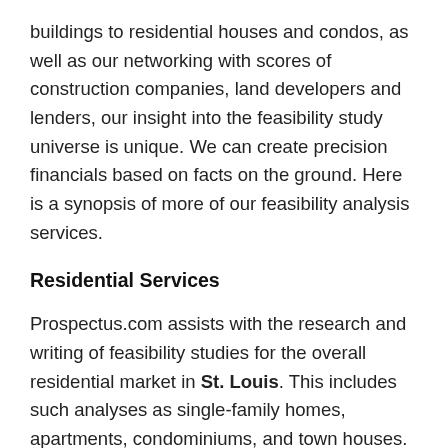buildings to residential houses and condos, as well as our networking with scores of construction companies, land developers and lenders, our insight into the feasibility study universe is unique. We can create precision financials based on facts on the ground. Here is a synopsis of more of our feasibility analysis services.
Residential Services
Prospectus.com assists with the research and writing of feasibility studies for the overall residential market in St. Louis. This includes such analyses as single-family homes, apartments, condominiums, and town houses. In addition to the most common types of developments, we also prepare such reports for university and college housing, assisting living, for